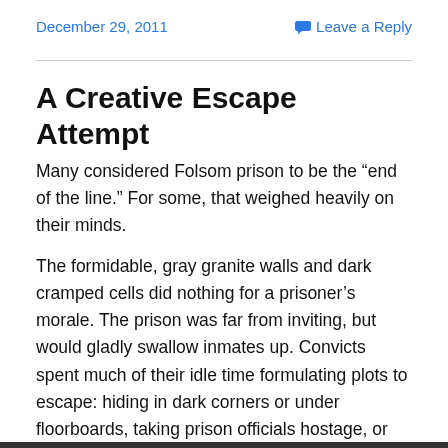December 29, 2011    Leave a Reply
A Creative Escape Attempt
Many considered Folsom prison to be the “end of the line.” For some, that weighed heavily on their minds.
The formidable, gray granite walls and dark cramped cells did nothing for a prisoner’s morale. The prison was far from inviting, but would gladly swallow inmates up. Convicts spent much of their idle time formulating plots to escape: hiding in dark corners or under floorboards, taking prison officials hostage, or simply sneaking away from the yard. Folsom’s history is littered with tales of escapes, some successful, others not.